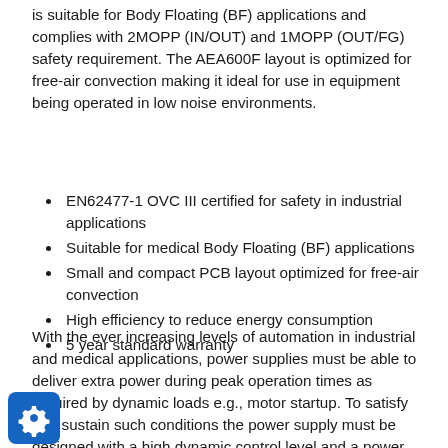is suitable for Body Floating (BF) applications and complies with 2MOPP (IN/OUT) and 1MOPP (OUT/FG) safety requirement. The AEA600F layout is optimized for free-air convection making it ideal for use in equipment being operated in low noise environments.
EN62477-1 OVC III certified for safety in industrial applications
Suitable for medical Body Floating (BF) applications
Small and compact PCB layout optimized for free-air convection
High efficiency to reduce energy consumption
5 year standard warranty
With the ever increasing levels of automation in industrial and medical applications, power supplies must be able to deliver extra power during peak operation times as required by dynamic loads e.g., motor startup. To satisfy and sustain such conditions the power supply must be designed with a high dynamic control level and a power stage able to sustain